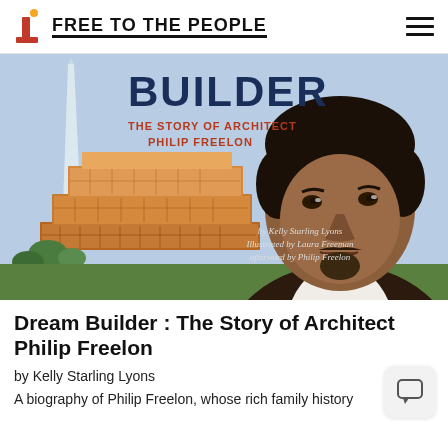FREE TO THE PEOPLE
[Figure (illustration): Book cover illustration of 'Builder: The Story of Architect Philip Freelon' showing a illustrated portrait of Philip Freelon and the National Museum of African American History and Culture building with the Washington Monument in the background. Text reads: 'BUILDER THE STORY OF ARCHITECT PHILIP FREELON by Kelly Starling Lyons, illustrated by Laura Freeman, afterword by Philip Freelon']
Dream Builder : The Story of Architect Philip Freelon
by Kelly Starling Lyons
A biography of Philip Freelon, whose rich family history